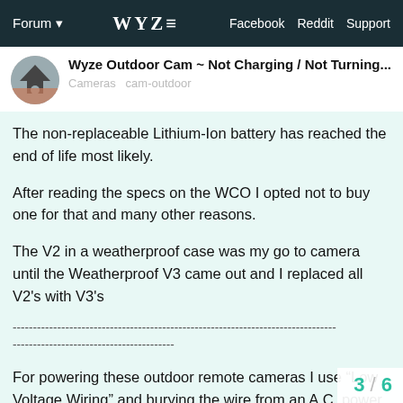Forum  WYZE  Facebook  Reddit  Support
Wyze Outdoor Cam ~ Not Charging / Not Turning...
Cameras  cam-outdoor
The non-replaceable Lithium-Ion battery has reached the end of life most likely.
After reading the specs on the WCO I opted not to buy one for that and many other reasons.
The V2 in a weatherproof case was my go to camera until the Weatherproof V3 came out and I replaced all V2's with V3's
-------------------------------------------------------------------------------- ----------------------------------------
For powering these outdoor remote cameras I use “Low Voltage Wiring” and burying the wire from an A.C. power outlet (indoors) power supply to the cameras. The use a 12 volt to 5 volt micro-USB regulator adapter and insti
3 / 6